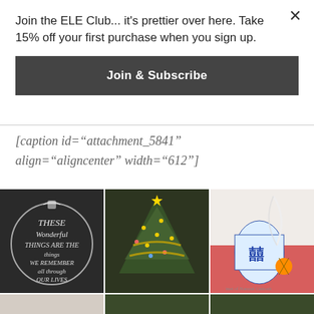Join the ELE Club... it's prettier over here. Take 15% off your first purchase when you sign up.
Join & Subscribe
[caption id="attachment_5841" align="aligncenter" width="612"]
[Figure (photo): Three-column photo grid showing: left - chalkboard art reading 'THESE Wonderful THINGS ARE THE things WE REMEMBER all through OUR LIVES', middle - decorated Christmas tree with gold ribbons and lights, right - blue and white Chinese ginger jar with white feather and orange pomander on red books labeled 'Cabinet of Natural Curiosit...' Second row shows partial photos below.]